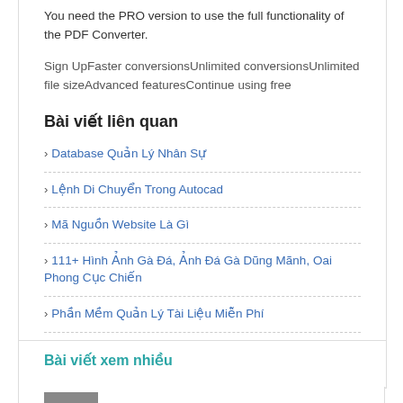You need the PRO version to use the full functionality of the PDF Converter.
Sign UpFaster conversionsUnlimited conversionsUnlimited file sizeAdvanced featuresContinue using free
Bài viết liên quan
Database Quản Lý Nhân Sự
Lệnh Di Chuyển Trong Autocad
Mã Nguồn Website Là Gì
111+ Hình Ảnh Gà Đá, Ảnh Đá Gà Dũng Mãnh, Oai Phong Cục Chiến
Phần Mềm Quản Lý Tài Liệu Miễn Phí
Những Cái Tên Buồn Cười Nhất Việt Nam
Bài viết xem nhiều
Bài Mẫn sau sinh